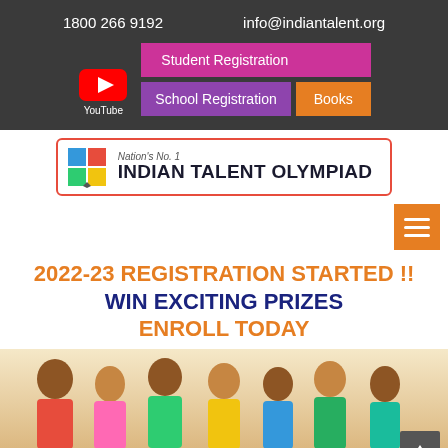1800 266 9192    info@indiantalent.org
[Figure (screenshot): YouTube button icon with play button logo and 'YouTube' label below]
Student Registration
School Registration
Books
[Figure (logo): Indian Talent Olympiad logo with colorful grid icon, text: Nation's No. 1 INDIAN TALENT OLYMPIAD, red border]
[Figure (other): Orange hamburger menu button with three horizontal white lines]
2022-23 REGISTRATION STARTED !!
WIN EXCITING PRIZES
ENROLL TODAY
[Figure (photo): Group of smiling children of various ages sitting together at a table, colorful clothes]